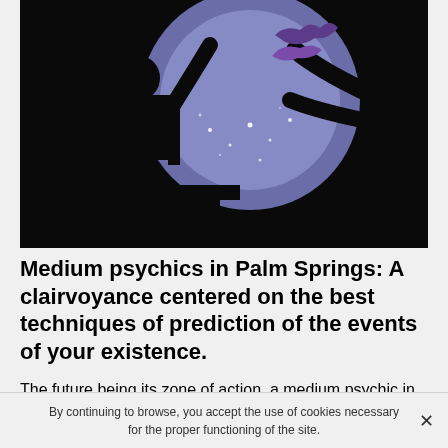[Figure (illustration): Dark silhouette illustration of a psychic/medium figure with purple-toned moon and mystical sparkles in the background. A person with long curly hair and outstretched hands with a bird.]
Medium psychics in Palm Springs: A clairvoyance centered on the best techniques of prediction of the events of your existence.
The future being its zone of action, a medium psychic in Palm Springs is ideal for the denouement of your problems. Indeed, whether it is at the sentimental level
By continuing to browse, you accept the use of cookies necessary for the proper functioning of the site.